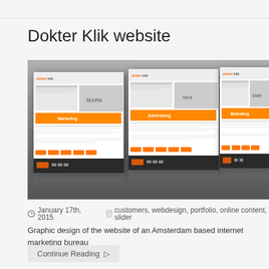Dokter Klik website
[Figure (screenshot): Four browser/webpage screenshots of the Dokter Klik website showing different pages (Marketing, Advertising, Optimization, Branding) with orange banners and dark footer, displayed in a 3D perspective on a gray gradient background with reflections.]
January 17th, 2015    customers, webdesign, portfolio, online content, slider
Graphic design of the website of an Amsterdam based internet marketing bureau
Continue Reading ▷